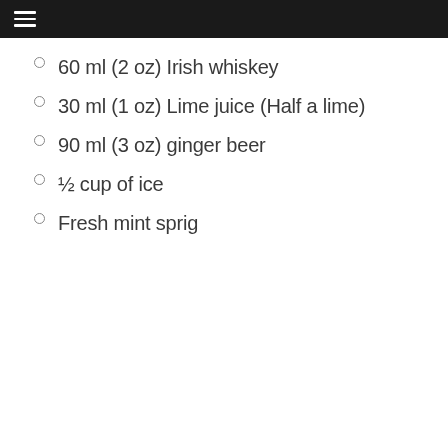60 ml (2 oz) Irish whiskey
30 ml (1 oz) Lime juice (Half a lime)
90 ml (3 oz) ginger beer
½ cup of ice
Fresh mint sprig